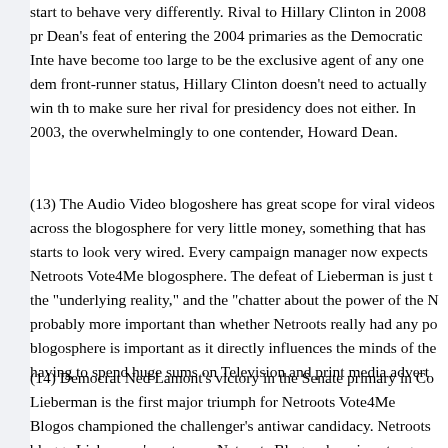start to behave very differently. Rival to Hillary Clinton in 2008 pr... Dean's feat of entering the 2004 primaries as the Democratic Inte... have become too large to be the exclusive agent of any one dem... front-runner status, Hillary Clinton doesn't need to actually win th... to make sure her rival for presidency does not either. In 2003, the... overwhelmingly to one contender, Howard Dean.
(13) The Audio Video blogoshere has great scope for viral videos... across the blogosphere for very little money, something that has... starts to look very wired. Every campaign manager now expects... Netroots Vote4Me blogosphere. The defeat of Lieberman is just t... the "underlying reality," and the "chatter about the power of the N... probably more important than whether Netroots really had any po... blogosphere is important as it directly influences the minds of the... having to spend huge sums on Television and print media advert...
(14) Democrat Ned Lamont's victory in the Senate primary in Co... Lieberman is the first major triumph for Netroots Vote4Me Blogos... championed the challenger's antiwar candidacy. Netroots blogge... Lieberman's outcome. Netroots Blogosphere is not a group to sh... playing kingmakers in a world of real politics that has true nationa... bloggers suddenly modest. Lamont would not have gotten where... blogosphere. Yet there are just not enough bloggers for that to be... victory will make it difficult for politicians to ignore the blogspher... blogosphere really does a good job of getting people fired up an...